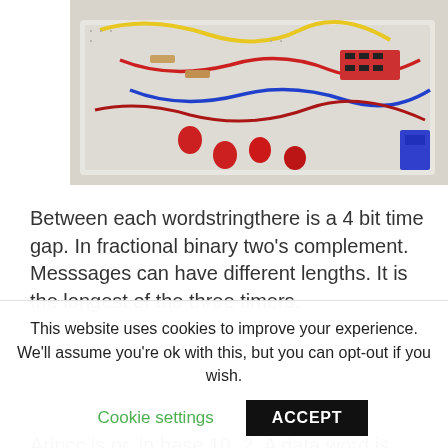[Figure (photo): Top-down photo of an electronics breadboard with red LEDs, wires (yellow, red, blue), resistors, and other electronic components arranged on a white breadboard.]
Between each wordstringthere is a 4 bit time gap. In fractional binary two's complement. Messsages can have different lengths. It is the longest of the three timers.
Arincc is or, in base 10, 2. A data word is defined as follows: The TI length of time in milliseconds is the decimal value RV in base 10 divided by 2
This website uses cookies to improve your experience. We'll assume you're ok with this, but you can opt-out if you wish.
Cookie settings
ACCEPT